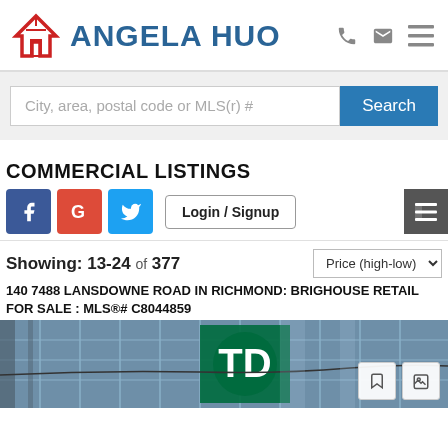ANGELA HUO
City, area, postal code or MLS(r) #
COMMERCIAL LISTINGS
Login / Signup
Showing: 13-24 of 377
140 7488 LANSDOWNE ROAD IN RICHMOND: BRIGHOUSE RETAIL FOR SALE : MLS®# C8044859
[Figure (photo): Exterior photo of a commercial building with TD Bank logo signage, glass facade]